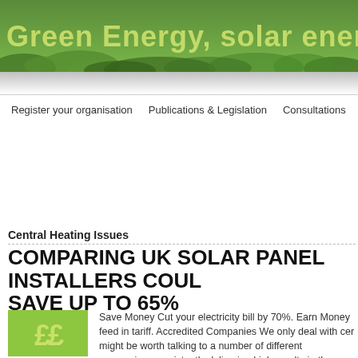[Figure (photo): Green grass banner with text 'Green Energy, solar energy' in yellow-green bold font over a grass/nature background]
Register your organisation   Publications & Legislation   Consultations
Central Heating Issues
COMPARING UK SOLAR PANEL INSTALLERS COULD SAVE UP TO 65%
[Figure (logo): Green square logo with yellow-green pound signs 'ff']
Save Money Cut your electricity bill by 70%. Earn Money feed in tariff. Accredited Companies We only deal with cer might be worth talking to a number of different companies. consistently delivering high results in the commercial ind